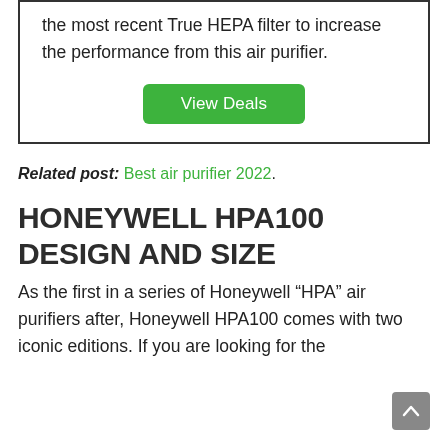the most recent True HEPA filter to increase the performance from this air purifier.
View Deals
Related post: Best air purifier 2022.
HONEYWELL HPA100 DESIGN AND SIZE
As the first in a series of Honeywell “HPA” air purifiers after, Honeywell HPA100 comes with two iconic editions. If you are looking for the